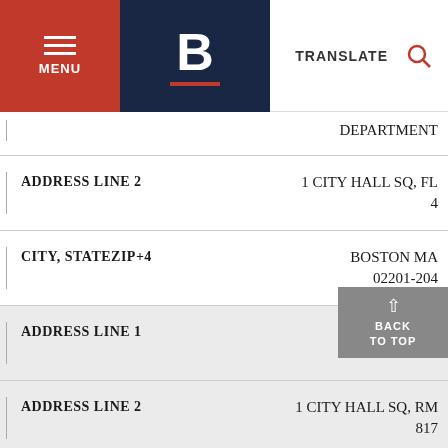MENU | B | TRANSLATE
| Field | Value |
| --- | --- |
|  | DEPARTMENT |
| ADDRESS LINE 2 | 1 CITY HALL SQ, FL 4 |
| CITY, STATEZIP+4 | BOSTON MA 02201-204... |
| ADDRESS LINE 1 | CONSUMER AFFAIRS |
| ADDRESS LINE 2 | 1 CITY HALL SQ, RM 817 |